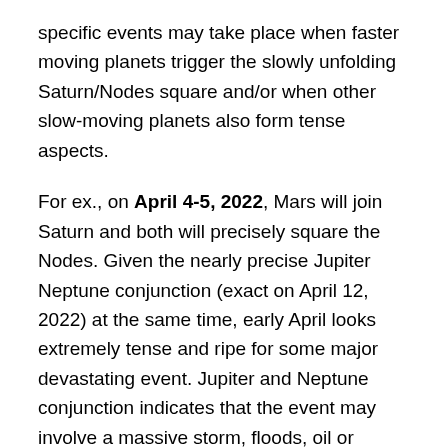specific events may take place when faster moving planets trigger the slowly unfolding Saturn/Nodes square and/or when other slow-moving planets also form tense aspects.
For ex., on April 4-5, 2022, Mars will join Saturn and both will precisely square the Nodes. Given the nearly precise Jupiter Neptune conjunction (exact on April 12, 2022) at the same time, early April looks extremely tense and ripe for some major devastating event. Jupiter and Neptune conjunction indicates that the event may involve a massive storm, floods, oil or chemical spill, a chemical or bioweapons attack or accident, a gas leak and explosion, pollution or poisoning with some drug/chemical, and so on. Jupiter tends to blow things out-of-proportion, so the situation may cause major panic (e.g., about safety, oil prices, availability of clean water, etc.) and/or have a